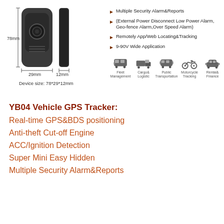[Figure (photo): GPS tracker device shown from front and side views with dimension annotations: 78mm height, 29mm width, 12mm depth]
Device size: 78*29*12mm
Multiple Security Alarm&Reports
(External Power Disconnect Low Power Alarm, Geo-fence Alarm,Over Speed Alarm)
Remotely App/Web Locating&Tracking
9-90V Wide Application
[Figure (infographic): Application icons row: Fleet Management (bus), Cargo& Logistic (truck), Public Transportation (minibus), Motorcycle Tracking (motorcycle), Rental& Finance (car)]
YB04 Vehicle GPS Tracker:
Real-time GPS&BDS positioning
Anti-theft Cut-off Engine
ACC/Ignition Detection
Super Mini Easy Hidden
Multiple Security Alarm&Reports